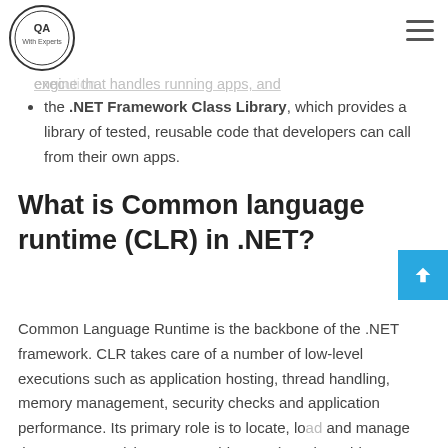QA With Experts logo and navigation menu
the common language runtime (CLR), which is the execution engine that handles running apps, and
the .NET Framework Class Library, which provides a library of tested, reusable code that developers can call from their own apps.
What is Common language runtime (CLR) in .NET?
Common Language Runtime is the backbone of the .NET framework. CLR takes care of a number of low-level executions such as application hosting, thread handling, memory management, security checks and application performance. Its primary role is to locate, load and manage the .NET types (class, array, object etc.)  and provides